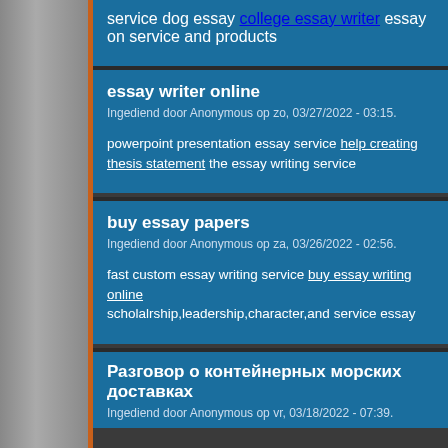service dog essay college essay writer essay on service and products
essay writer online
Ingediend door Anonymous op zo, 03/27/2022 - 03:15.
powerpoint presentation essay service help creating thesis statement the essay writing service
buy essay papers
Ingediend door Anonymous op za, 03/26/2022 - 02:56.
fast custom essay writing service buy essay writing online scholalrship,leadership,character,and service essay
Разговор о контейнерных морских доставках
Ingediend door Anonymous op vr, 03/18/2022 - 07:39.